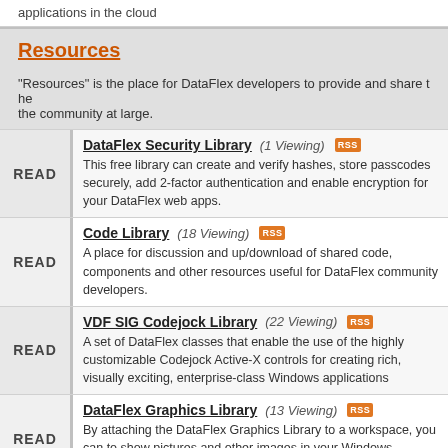applications in the cloud
Resources
"Resources" is the place for DataFlex developers to provide and share the community at large.
DataFlex Security Library (1 Viewing) - This free library can create and verify hashes, store passcodes securely, add 2-factor authentication and enable encryption for your DataFlex web apps.
Code Library (18 Viewing) - A place for discussion and up/download of shared code, components and other resources useful for DataFlex community developers.
VDF SIG Codejock Library (22 Viewing) - A set of DataFlex classes that enable the use of the highly customizable Codejock Active-X controls for creating rich, visually exciting, enterprise-class Windows applications
DataFlex Graphics Library (13 Viewing) - By attaching the DataFlex Graphics Library to a workspace, you can to show pictures and other images in your Windows applications using formats such as JPG, TIFF, GIF etc.
OAuth, RESTFul & Web API Integration (14 Viewing) - Using published APIs and the free OAuth plugin for DataFlex, developers can now integrate resources from